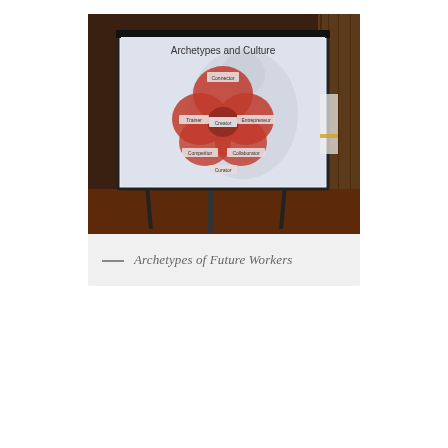[Figure (photo): A photograph of a projection screen in a conference/classroom setting showing a slide titled 'Archetypes and Culture' with a Venn-diagram-like infographic of overlapping red circles labeled with archetypes (Connector, Trainer, Competitor, Collaborator, Creator). The room is dimly lit with wooden paneling visible.]
— Archetypes of Future Workers